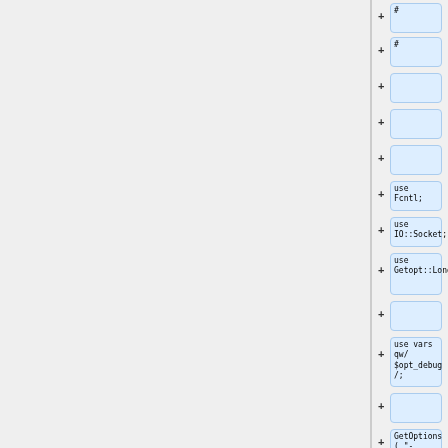[Figure (screenshot): A diff/code-review UI showing a vertical list of code line additions (green/blue highlighted boxes) on the right side of the page, each with a '+' prefix indicating added lines. Lines include: '#', '#', empty, empty, empty, 'use Fcntl;', 'use IO::Socket;', 'use\nGetopt::Long;', empty, 'use vars qw/\n$opt_debug /;', empty, 'GetOptions ( "-']
+ #
+ #
+
+
+
+ use Fcntl;
+ use IO::Socket;
+ use Getopt::Long;
+
+ use vars qw/ $opt_debug /;
+
+ GetOptions ( "-